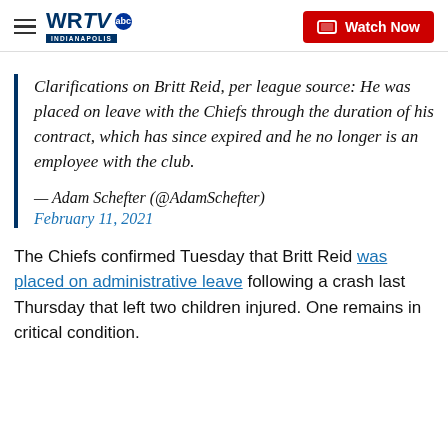WRTV INDIANAPOLIS | Watch Now
Clarifications on Britt Reid, per league source: He was placed on leave with the Chiefs through the duration of his contract, which has since expired and he no longer is an employee with the club.
— Adam Schefter (@AdamSchefter)
February 11, 2021
The Chiefs confirmed Tuesday that Britt Reid was placed on administrative leave following a crash last Thursday that left two children injured. One remains in critical condition.